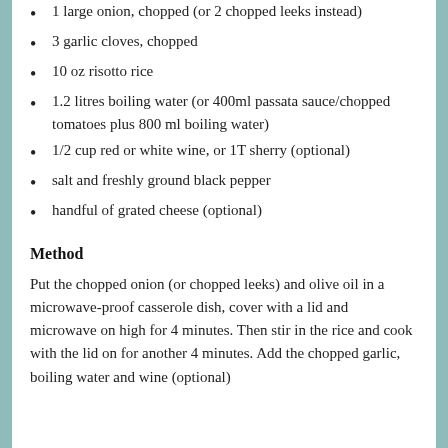1 large onion, chopped (or 2 chopped leeks instead)
3 garlic cloves, chopped
10 oz risotto rice
1.2 litres boiling water (or 400ml passata sauce/chopped tomatoes plus 800 ml boiling water)
1/2 cup red or white wine, or 1T sherry (optional)
salt and freshly ground black pepper
handful of grated cheese (optional)
Method
Put the chopped onion (or chopped leeks) and olive oil in a microwave-proof casserole dish, cover with a lid and microwave on high for 4 minutes. Then stir in the rice and cook with the lid on for another 4 minutes. Add the chopped garlic, boiling water and wine (optional)